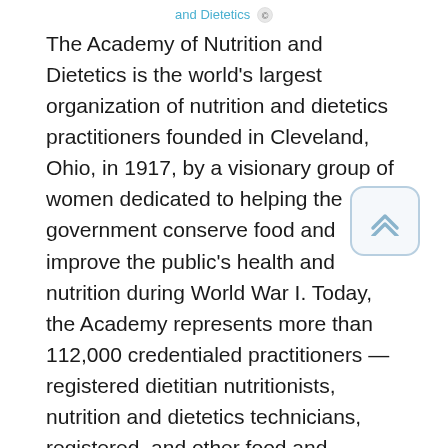and Dietetics
The Academy of Nutrition and Dietetics is the world's largest organization of nutrition and dietetics practitioners founded in Cleveland, Ohio, in 1917, by a visionary group of women dedicated to helping the government conserve food and improve the public's health and nutrition during World War I. Today, the Academy represents more than 112,000 credentialed practitioners — registered dietitian nutritionists, nutrition and dietetics technicians, registered, and other food and nutrition professionals holding undergraduate and advanced degrees in nutrition and dietetics, and students — and is committed to improving